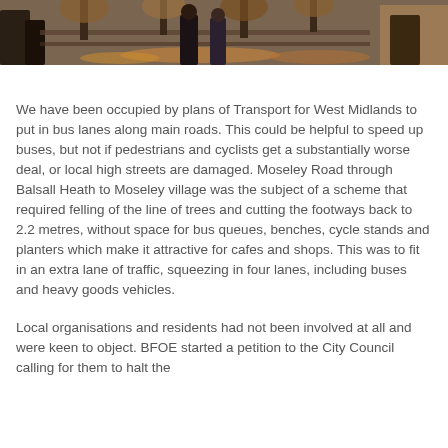[Figure (photo): Cropped bottom portion of an outdoor photograph showing people near trees with autumn leaves on the ground.]
We have been occupied by plans of Transport for West Midlands to put in bus lanes along main roads. This could be helpful to speed up buses, but not if pedestrians and cyclists get a substantially worse deal, or local high streets are damaged. Moseley Road through Balsall Heath to Moseley village was the subject of a scheme that required felling of the line of trees and cutting the footways back to 2.2 metres, without space for bus queues, benches, cycle stands and planters which make it attractive for cafes and shops. This was to fit in an extra lane of traffic, squeezing in four lanes, including buses and heavy goods vehicles.
Local organisations and residents had not been involved at all and were keen to object. BFOE started a petition to the City Council calling for them to halt the